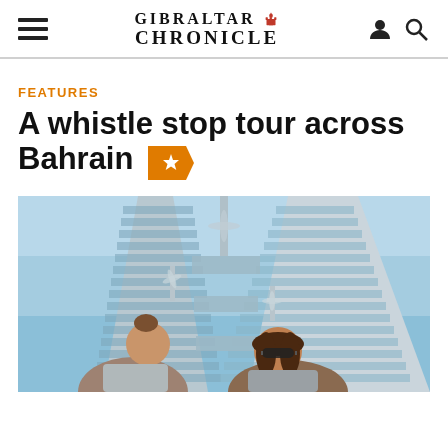GIBRALTAR CHRONICLE
FEATURES
A whistle stop tour across Bahrain
[Figure (photo): Two people in front of the Bahrain World Trade Center towers, with wind turbines between the towers visible against a blue sky.]